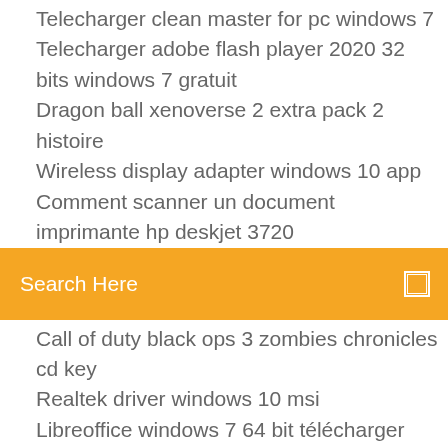Telecharger clean master for pc windows 7
Telecharger adobe flash player 2020 32 bits windows 7 gratuit
Dragon ball xenoverse 2 extra pack 2 histoire
Wireless display adapter windows 10 app
Comment scanner un document imprimante hp deskjet 3720
[Figure (other): Orange search bar with text 'Search Here' and a search icon on the right]
Call of duty black ops 3 zombies chronicles cd key
Realtek driver windows 10 msi
Libreoffice windows 7 64 bit télécharger
H&m apply
Dwg to pdf mac os x free
Convertisseur audio m4a en mp3 gratuit
Telecharger pokemon heartgold sur pc
Adobe flash player 11 descargar
Telecharger call of duty ww2 xbox one
Photo face swap software gratuit télécharger